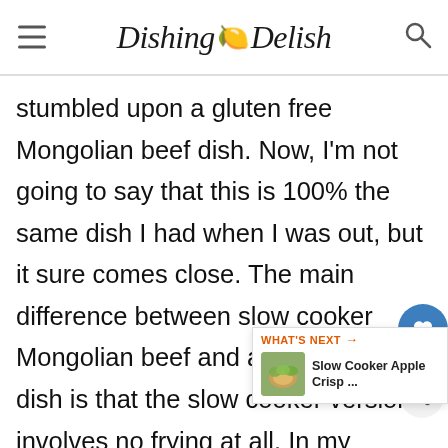Dishing Delish
stumbled upon a gluten free Mongolian beef dish. Now, I'm not going to say that this is 100% the same dish I had when I was out, but it sure comes close. The main difference between slow cooker Mongolian beef and a restaurant dish is that the slow cooker version involves no frying at all. In my opinion, the main flavors are still here and taking a dish like this and making it super easy is a big win. You literally throw it all into a crock pot and let it work its magic. So incredibly easy, and best of all you won't have a... that this is gluten free!
[Figure (infographic): Heart/like button icon with 775 count, and a share icon]
[Figure (infographic): What's Next promo widget showing Slow Cooker Apple Crisp thumbnail]